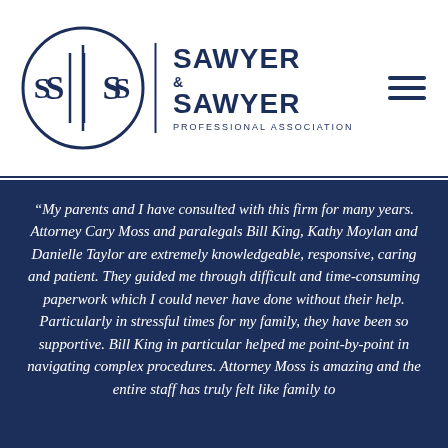[Figure (logo): Sawyer & Sawyer Professional Association logo — circular S|S emblem with vertical bar divider, company name in navy blue sans-serif text]
“My parents and I have consulted with this firm for many years. Attorney Cary Moss and paralegals Bill King, Kathy Moylan and Danielle Taylor are extremely knowledgeable, responsive, caring and patient. They guided me through difficult and time-consuming paperwork which I could never have done without their help. Particularly in stressful times for my family, they have been so supportive. Bill King in particular helped me point-by-point in navigating complex procedures. Attorney Moss is amazing and the entire staff has truly felt like family to